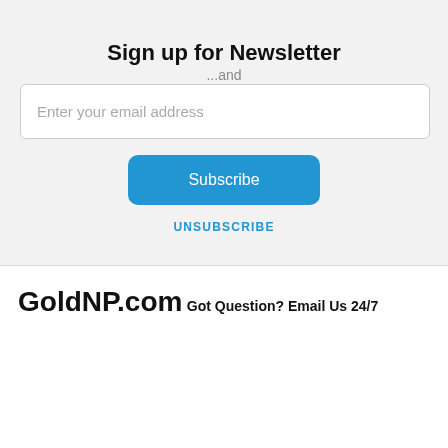Sign up for Newsletter
...and
Enter your email address
Subscribe
UNSUBSCRIBE
GoldNP.com
Got Question? Email Us 24/7